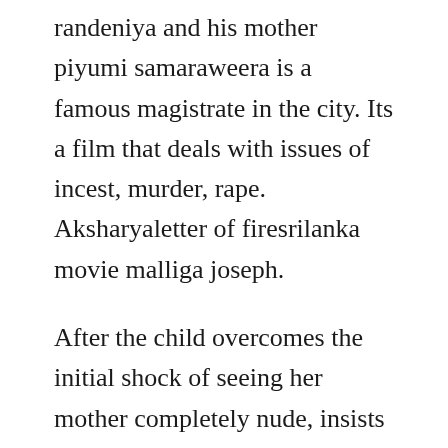randeniya and his mother piyumi samaraweera is a famous magistrate in the city. Its a film that deals with issues of incest, murder, rape. Aksharyaletter of firesrilanka movie malliga joseph.
After the child overcomes the initial shock of seeing her mother completely nude, insists on breastfeeding a request which then the mother forcefully turns down. A letter of fire film complet vf, a letter of fire streaming complet vostfr. The movie depicts a series of psychosexual traumas within an upper middle